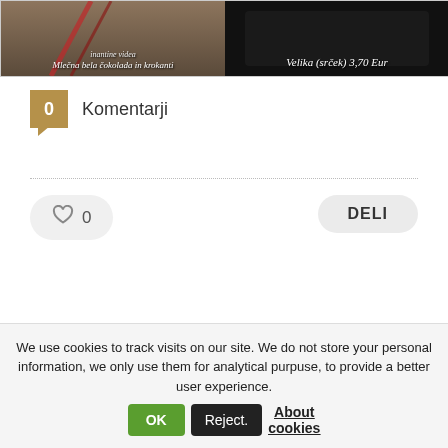[Figure (photo): Two side-by-side product images: left shows white chocolate with croquant, right shows a heart-shaped product with price label 'Velika (srček) 3,70 Eur']
0  Komentarji
♡ 0
DELI
We use cookies to track visits on our site. We do not store your personal information, we only use them for analytical purpuse, to provide a better user experience.
OK  Reject.  About cookies